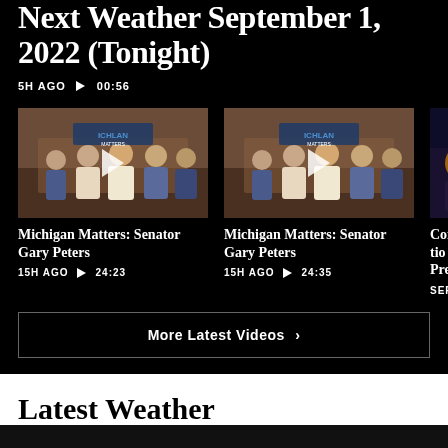Next Weather September 1, 2022 (Tonight)
5H AGO ▶ 00:56
[Figure (screenshot): Video thumbnail showing group of people at Michigan Matters studio set]
Michigan Matters: Senator Gary Peters
15H AGO ▶ 24:23
[Figure (screenshot): Video thumbnail showing group of people at Michigan Matters studio set]
Michigan Matters: Senator Gary Peters
15H AGO ▶ 24:35
[Figure (screenshot): Partial video thumbnail with dark background]
Communi... Preventio...
SEP 3
More Latest Videos ›
Latest Weather